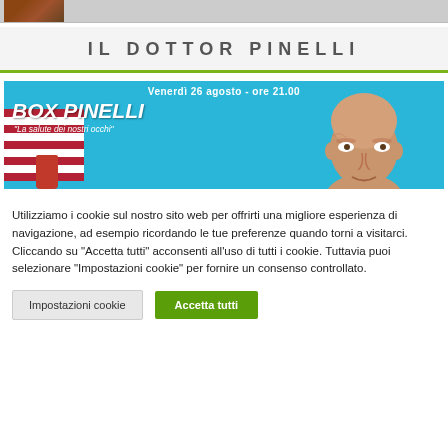[Figure (photo): Top thumbnail image strip showing partial photo]
IL DOTTOR PINELLI
[Figure (photo): Banner image with blue background showing 'Venerdì 26 agosto - ore 21.00', 'BOX PINELLI', 'La salute dei nostri occhi' text, flag stripes on left, red cup, and partial face of a bald man on right]
Utilizziamo i cookie sul nostro sito web per offrirti una migliore esperienza di navigazione, ad esempio ricordando le tue preferenze quando torni a visitarci. Cliccando su "Accetta tutti" acconsenti all'uso di tutti i cookie. Tuttavia puoi selezionare "Impostazioni cookie" per fornire un consenso controllato.
Impostazioni cookie
Accetta tutti